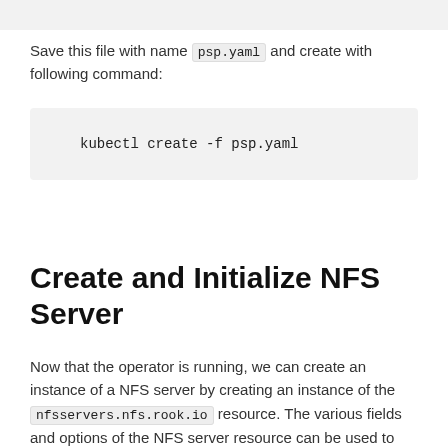[Figure (screenshot): Top gray code block strip from previous content]
Save this file with name psp.yaml and create with following command:
kubectl create -f psp.yaml
Create and Initialize NFS Server
Now that the operator is running, we can create an instance of a NFS server by creating an instance of the nfsservers.nfs.rook.io resource. The various fields and options of the NFS server resource can be used to configure the server and its volumes to export. Full details of the available configuration options can be found in the NFS CRD documentation.